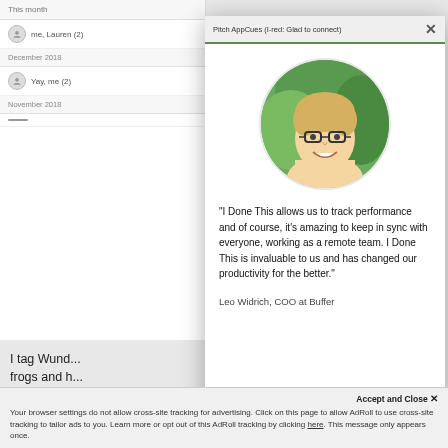[Figure (screenshot): Background app interface showing email/inbox sidebar with months (December 2018, November 2018) and user entries. Partially obscured by modal overlay.]
I tag Wund... frogs and h... there. For ... #quick tag... out your pe...
[Figure (screenshot): Modal popup titled 'Pitch AppCues (I-red: Glad to connect)' showing a circular headshot photo of a young man with glasses and blonde hair, with a testimonial quote.]
“I Done This allows us to track performance and of course, it’s amazing to keep in sync with everyone, working as a remote team. I Done This is invaluable to us and has changed our productivity for the better.”
Leo Widrich, COO at Buffer
Accept and Close ×
Your browser settings do not allow cross-site tracking for advertising. Click on this page to allow AdRoll to use cross-site tracking to tailor ads to you. Learn more or opt out of this AdRoll tracking by clicking here. This message only appears once.